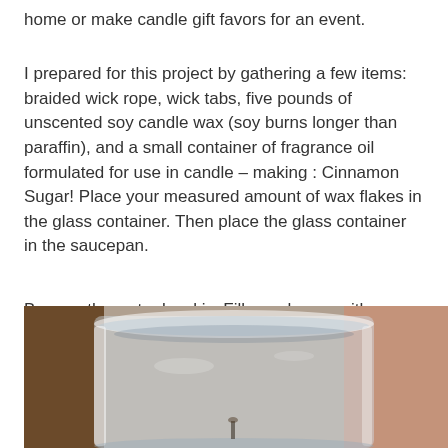home or make candle gift favors for an event.
I prepared for this project by gathering a few items: braided wick rope, wick tabs, five pounds of unscented soy candle wax (soy burns longer than paraffin), and a small container of fragrance oil formulated for use in candle – making : Cinnamon Sugar! Place your measured amount of wax flakes in the glass container. Then place the glass container in the saucepan.
Be sure the water level is. Fill your house with homemade candle this summer.
[Figure (photo): Close-up photo of a clear glass container sitting on a wooden surface, showing the glass rim and reflections, with a warm brown background.]